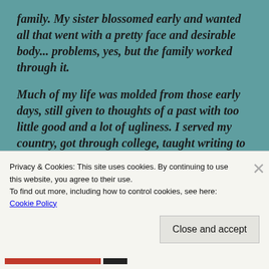family. My sister blossomed early and wanted all that went with a pretty face and desirable body... problems, yes, but the family worked through it.
Much of my life was molded from those early days, still given to thoughts of a past with too little good and a lot of ugliness. I served my country, got through college, taught writing to high school seniors, did some acting, commercials and film, married a few times, sired three beautiful kids who constantly amaze me with their goodness
Privacy & Cookies: This site uses cookies. By continuing to use this website, you agree to their use.
To find out more, including how to control cookies, see here:
Cookie Policy
Close and accept